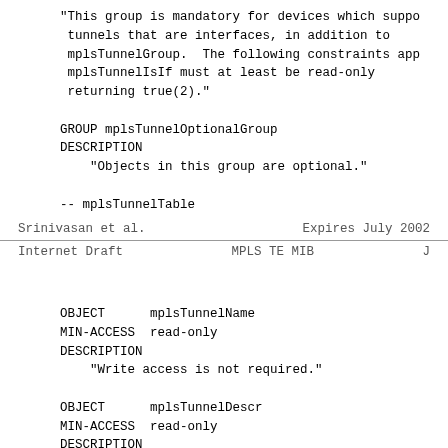"This group is mandatory for devices which support tunnels that are interfaces, in addition to mplsTunnelGroup.  The following constraints apply: mplsTunnelIsIf must at least be read-only returning true(2)."
GROUP mplsTunnelOptionalGroup
DESCRIPTION
    "Objects in this group are optional."

-- mplsTunnelTable
Srinivasan et al.        Expires July 2002
Internet Draft                  MPLS TE MIB                        J
OBJECT      mplsTunnelName
MIN-ACCESS  read-only
DESCRIPTION
    "Write access is not required."

OBJECT      mplsTunnelDescr
MIN-ACCESS  read-only
DESCRIPTION